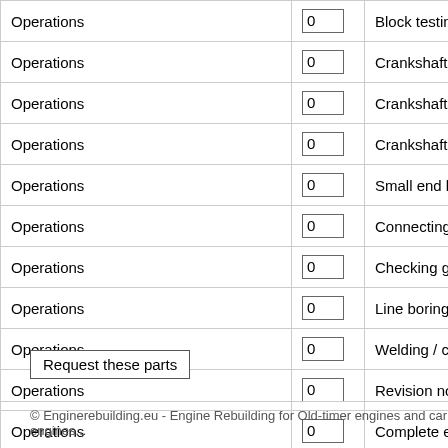|  |  |  |
| --- | --- | --- |
| Operations | 0 | Block testing for crack... |
| Operations | 0 | Crankshaft grinding |
| Operations | 0 | Crankshaft balancing |
| Operations | 0 | Crankshaft nitriding |
| Operations | 0 | Small end bushing rep... |
| Operations | 0 | Connecting-rod check... |
| Operations | 0 | Checking groundbore |
| Operations | 0 | Line boring engine |
| Operations | 0 | Welding / crack repair |
| Operations | 0 | Revision not found? R... |
| Operations | 0 | Complete engine over... |
Request these parts
© Enginerebuilding.eu - Engine Rebuilding for Old-timer engines and car engines...